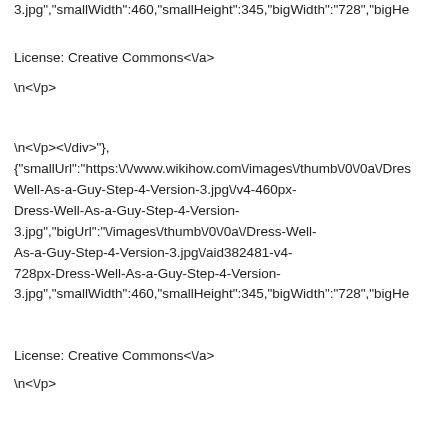3.jpg","smallWidth":460,"smallHeight":345,"bigWidth":"728","bigHe
License: Creative Commons<\/a>
\n<\/p>
\n<\/p><\/div>"}, {"smallUrl":"https:\/\/www.wikihow.com\/images\/thumb\/0\/0a\/Dres Well-As-a-Guy-Step-4-Version-3.jpg\/v4-460px-Dress-Well-As-a-Guy-Step-4-Version-3.jpg","bigUrl":"\/images\/thumb\/0\/0a\/Dress-Well-As-a-Guy-Step-4-Version-3.jpg\/aid382481-v4-728px-Dress-Well-As-a-Guy-Step-4-Version-3.jpg","smallWidth":460,"smallHeight":345,"bigWidth":"728","bigHe
License: Creative Commons<\/a>
\n<\/p>